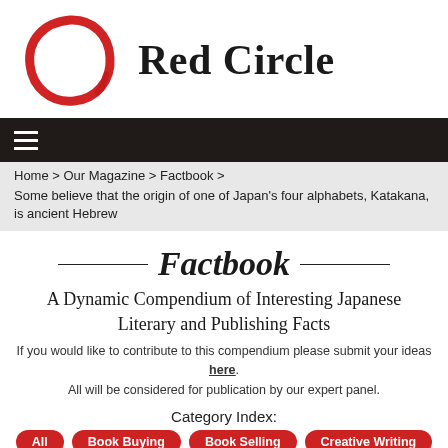[Figure (logo): Red Circle logo: a brushstroke red circle SVG next to the text 'Red Circle' in bold serif font]
[Figure (other): Dark navigation bar with hamburger menu icon]
Home > Our Magazine > Factbook >
Some believe that the origin of one of Japan’s four alphabets, Katakana, is ancient Hebrew
Factbook
A Dynamic Compendium of Interesting Japanese Literary and Publishing Facts
If you would like to contribute to this compendium please submit your ideas here. All will be considered for publication by our expert panel.
Category Index:
All
Book Buying
Book Selling
Creative Writing